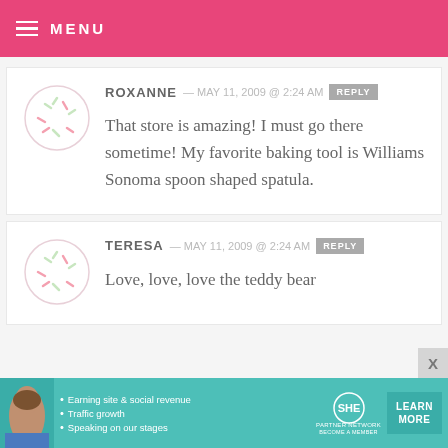MENU
ROXANNE — MAY 11, 2009 @ 2:24 AM  REPLY
That store is amazing! I must go there sometime! My favorite baking tool is Williams Sonoma spoon shaped spatula.
TERESA — MAY 11, 2009 @ 2:24 AM  REPLY
Love, love, love the teddy bear
[Figure (infographic): SHE Partner Network advertisement banner with woman photo, bullet points: Earning site & social revenue, Traffic growth, Speaking on our stages. Logo and LEARN MORE button.]